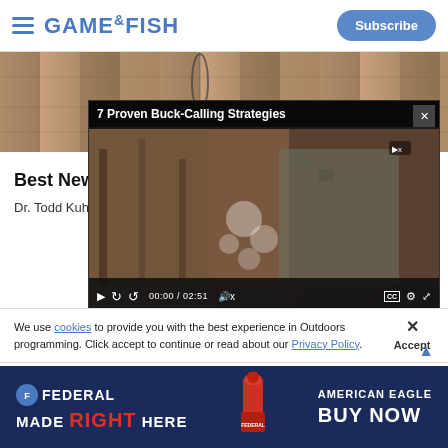GAME & FISH — Subscribe
[Figure (screenshot): Background photo of wooden wall with hunting equipment]
Best New S...
Dr. Todd Kuhn...
[Figure (screenshot): Overlay video player titled '7 Proven Buck-Calling Strategies' showing a hunter in camouflage aiming a bow. Controls show 00:00 / 02:51 with CC, settings, and fullscreen buttons.]
We use cookies to provide you with the best experience in Outdoors programming. Click accept to continue or read about our Privacy Policy.
[Figure (screenshot): Federal American Eagle advertisement banner: MADE RIGHT HERE — BUY NOW]